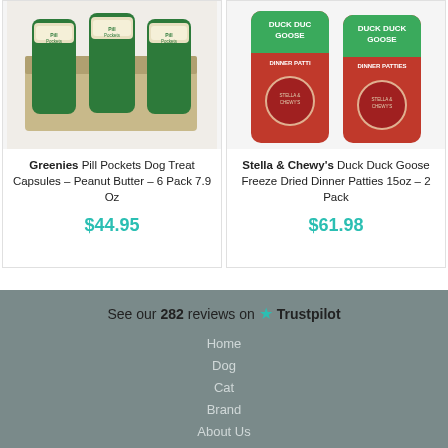[Figure (photo): Greenies Pill Pockets Dog Treat Capsules – Peanut Butter – 6 Pack 7.9 Oz product image showing multiple green canisters in a box]
Greenies Pill Pockets Dog Treat Capsules – Peanut Butter – 6 Pack 7.9 Oz
$44.95
[Figure (photo): Stella & Chewy's Duck Duck Goose Freeze Dried Dinner Patties 15oz – 2 Pack product image showing two red pouches with green top]
Stella & Chewy's Duck Duck Goose Freeze Dried Dinner Patties 15oz – 2 Pack
$61.98
See our 282 reviews on ★ Trustpilot
Home
Dog
Cat
Brand
About Us